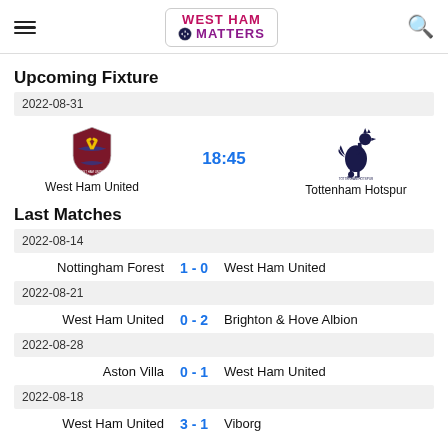West Ham Matters
Upcoming Fixture
2022-08-31
[Figure (logo): West Ham United crest and Tottenham Hotspur crest with kickoff time 18:45]
West Ham United vs Tottenham Hotspur, 18:45
Last Matches
2022-08-14
Nottingham Forest 1 - 0 West Ham United
2022-08-21
West Ham United 0 - 2 Brighton & Hove Albion
2022-08-28
Aston Villa 0 - 1 West Ham United
2022-08-18
West Ham United 3 - 1 Viborg